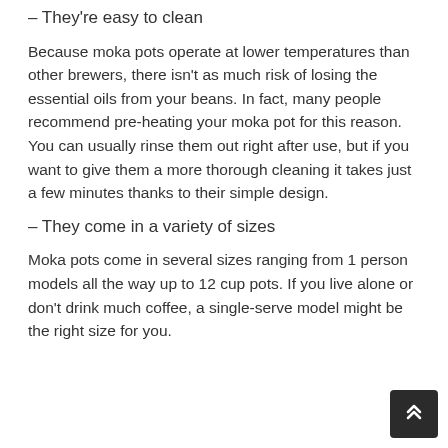– They're easy to clean
Because moka pots operate at lower temperatures than other brewers, there isn't as much risk of losing the essential oils from your beans. In fact, many people recommend pre-heating your moka pot for this reason. You can usually rinse them out right after use, but if you want to give them a more thorough cleaning it takes just a few minutes thanks to their simple design.
– They come in a variety of sizes
Moka pots come in several sizes ranging from 1 person models all the way up to 12 cup pots. If you live alone or don't drink much coffee, a single-serve model might be the right size for you.